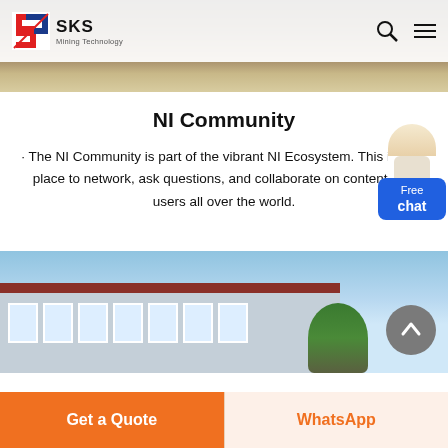[Figure (photo): Top banner photo of mining/construction equipment on a dirt surface, with SKS Mining Technology logo and navigation bar overlaid]
SKS Mining Technology
NI Community
· The NI Community is part of the vibrant NI Ecosystem. This is your place to network, ask questions, and collaborate on content with users all over the world.
[Figure (photo): Photo of a light blue industrial building with white-framed windows and a brown/terracotta roof, with trees in background and construction equipment in foreground]
Get a Quote
WhatsApp